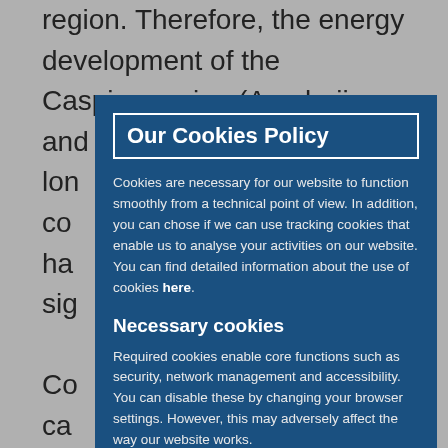region. Therefore, the energy development of the Caspian region (Azerbaijan and Turkmenistan) has long been considered a critical source of competition. The EU has ...has long been significant.
Consequently, the capacity...since the EU... Turkey...by...
But...the only non-Russian gas to reach the European continent via Turkey is Azeri gas. Europe's
Our Cookies Policy
Cookies are necessary for our website to function smoothly from a technical point of view. In addition, you can chose if we can use tracking cookies that enable us to analyse your activities on our website. You can find detailed information about the use of cookies here.
Necessary cookies
Required cookies enable core functions such as security, network management and accessibility. You can disable these by changing your browser settings. However, this may adversely affect the way our website works.
Tracking cookies